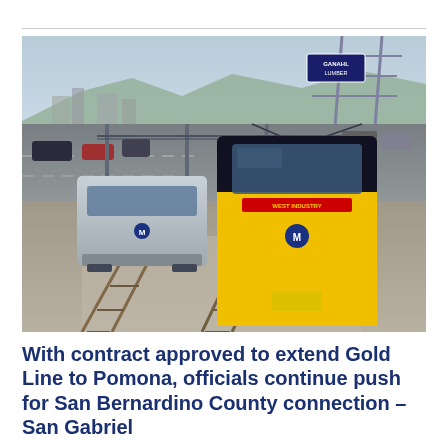[Figure (photo): Photo of two trains on railway tracks — a yellow and black Metro Gold Line train in the foreground curving toward the camera, and a silver train on an adjacent track. Overhead power lines, utility poles, freeway traffic, and a Ganahl Lumber billboard sign visible in the background.]
With contract approved to extend Gold Line to Pomona, officials continue push for San Bernardino County connection – San Gabriel